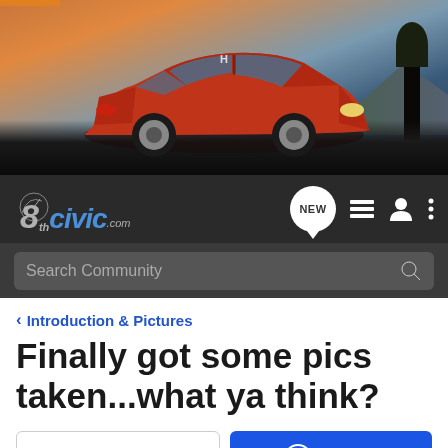[Figure (photo): Hero banner image of a red Honda Civic driving on a road with mountains and colorful sky in the background]
[Figure (logo): 8thCivic.com logo with navigation icons including NEW badge, menu icon, user icon, and more options icon]
Search Community
< Introduction & Pictures
Finally got some pics taken...what ya think?
→ Jump to Latest
+ Follow
Not open for further replies.